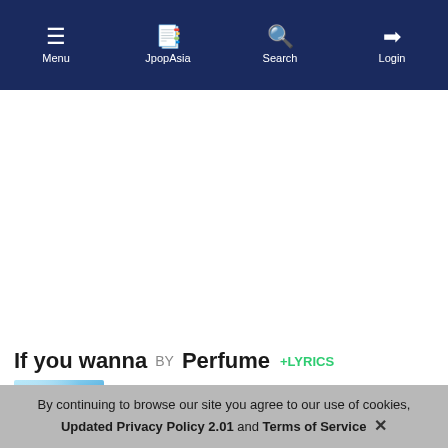Menu | JpopAsia | Search | Login
[Figure (screenshot): White advertisement space]
If you wanna BY Perfume +LYRICS
Upvote: 0 | Released: 30 Aug 2017 | Genre: Jpop
By continuing to browse our site you agree to our use of cookies, Updated Privacy Policy 2.01 and Terms of Service ×